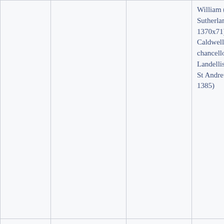|  |  |  | William (IV), earl of Sutherland (d. 1370x71); William Caldwell, chancellor; William Landellis, bishop of St Andrews (d. 1385) |
| 17 Oct. 1354 | Command to maintain Arbroath abbey its ... | Addressee |  |